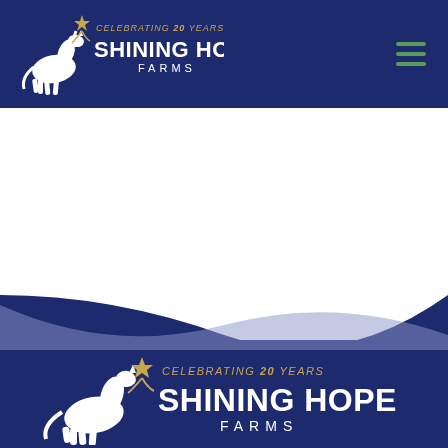Shining Hope Farms – Celebrating 20 Years
fund its Saddles and Salutes program that serves Veterans in the Western Piedmont region of North Carolina through equine assisted activities and therapies (EAAT).
[Figure (logo): Shining Hope Farms logo with white horse and text 'Celebrating 20 Years Shining Hope Farms' on navy background, repeated in footer area]